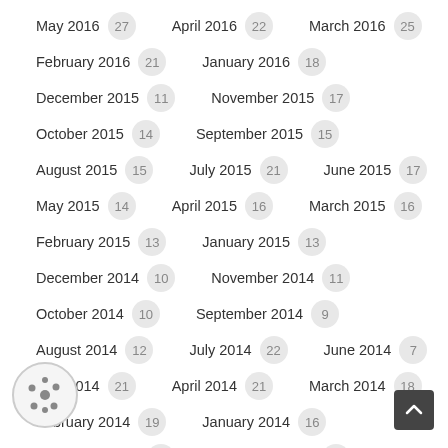May 2016 27    April 2016 22    March 2016 25
February 2016 21    January 2016 18
December 2015 11    November 2015 17
October 2015 14    September 2015 15
August 2015 15    July 2015 21    June 2015 17
May 2015 14    April 2015 16    March 2015 16
February 2015 13    January 2015 13
December 2014 10    November 2014 11
October 2014 10    September 2014 9
August 2014 12    July 2014 22    June 2014 7
May 2014 21    April 2014 21    March 2014 18
February 2014 19    January 2014 16
December 2013 13    November 2013 13
October 2013 15    September 2013 15